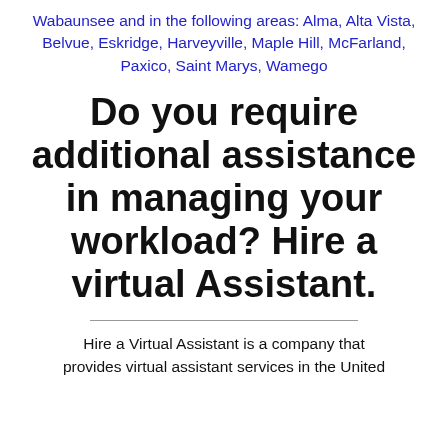Wabaunsee and in the following areas: Alma, Alta Vista, Belvue, Eskridge, Harveyville, Maple Hill, McFarland, Paxico, Saint Marys, Wamego
Do you require additional assistance in managing your workload? Hire a virtual Assistant.
Hire a Virtual Assistant is a company that provides virtual assistant services in the United